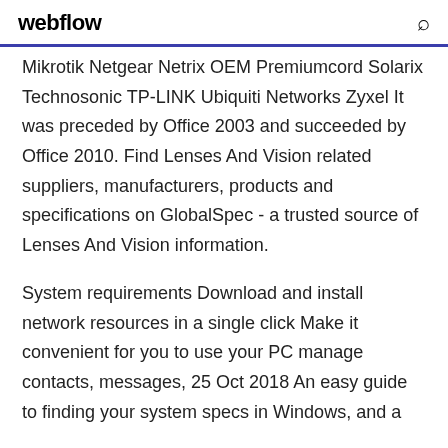webflow
Mikrotik Netgear Netrix OEM Premiumcord Solarix Technosonic TP-LINK Ubiquiti Networks Zyxel It was preceded by Office 2003 and succeeded by Office 2010. Find Lenses And Vision related suppliers, manufacturers, products and specifications on GlobalSpec - a trusted source of Lenses And Vision information.
System requirements Download and install network resources in a single click Make it convenient for you to use your PC manage contacts, messages,  25 Oct 2018 An easy guide to finding your system specs in Windows, and a